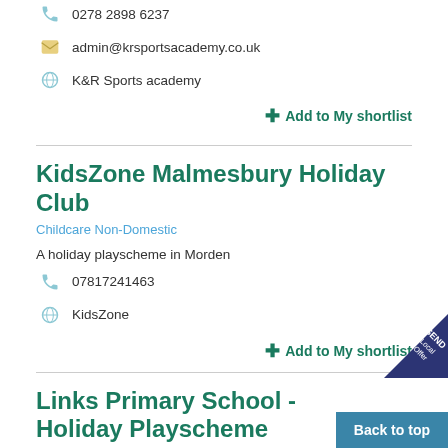0278 2898 6237
admin@krsportsacademy.co.uk
K&R Sports academy
Add to My shortlist
KidsZone Malmesbury Holiday Club
Childcare Non-Domestic
A holiday playscheme in Morden
07817241463
KidsZone
Add to My shortlist
Links Primary School - Holiday Playscheme
Nursery + Primary
Links Primary School runs a holiday scheme for its p
Back to top